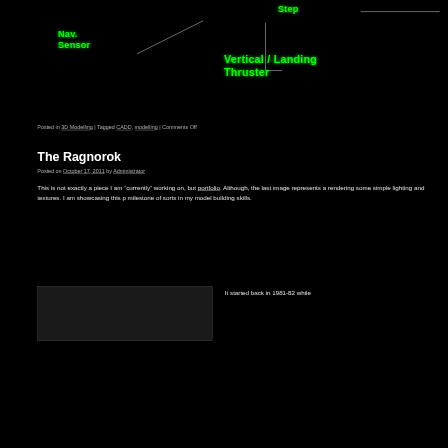[Figure (illustration): Dark background 3D spacecraft/vehicle schematic with green glowing labels: 'Nav. Sensor', 'Step', 'Vertical / Landing Thruster' connected by thin white lines to parts of the model.]
Posted in 3D Modelling | Tagged CADD, modelling | Comments Off
The Ragnorok
Posted on October 17, 2011 by Administrator
This is not exactly a piece I am “currently” working on, but portfolio. Although, the last image represents a rendering some simple lighting and textures. I am showcasing this p milestone of sorts in my model building skills.
It started back in 1981-82 while